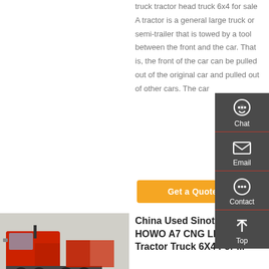truck tractor head truck 6x4 for sale A tractor is a general large truck or semi-trailer that is towed by a tool between the front and the car. That is, the front of the car can be pulled out of the original car and pulled out of other cars. The car
[Figure (other): Orange 'Get a Quote' button]
[Figure (photo): Red Sinotruck HOWO A7 tractor trucks parked in a lot]
China Used Sinotruck HOWO A7 CNG LNG Tractor Truck 6X4 For ...